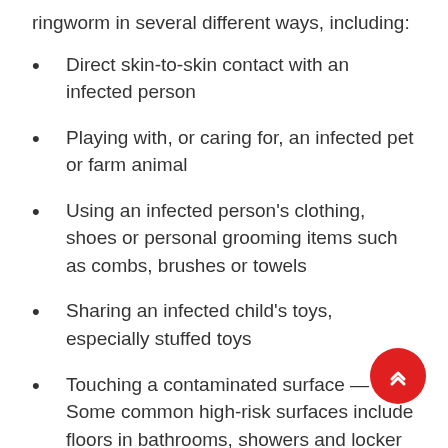ringworm in several different ways, including:
Direct skin-to-skin contact with an infected person
Playing with, or caring for, an infected pet or farm animal
Using an infected person's clothing, shoes or personal grooming items such as combs, brushes or towels
Sharing an infected child's toys, especially stuffed toys
Touching a contaminated surface — Some common high-risk surfaces include floors in bathrooms, showers and locker rooms; shower stalls; gym mats; and pool decks, especially at schools and community pools. In general, any surface that is used by many different people can carry ringworm.